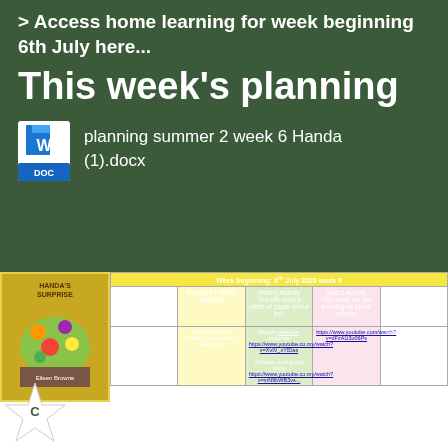> Access home learning for week beginning 6th July here...
This week's planning
planning summer 2 week 6 Handa (1).docx
| Week beginning: 6th July 2020 week 6 |  |  |  |  |
| --- | --- | --- | --- | --- |
|  | Phonics / SPAG activity | Writing Activity
You will need a piece of paper and a pen | Maths Activity
This week we are learning all about money | Topic/Foundation Subjects Activity
(Suggested order but feel free to reorganise to suit you) |
| Monday
Revise graphemes
...hs | Shared reading
What is the Same?
See video | Watch Handa's surprise
https://www.youtube.co.my/watch?v=XvIV_xYIDas
children acting out story
https://www.youtube.co.my/watch?v=mN9bWB3vs... | https://www.youtube.com/watch?v=dFzAU3u06Ps
* | Cutting skills, cut and make the stick puppet to retell the story pdf
Finger puppet pdf |